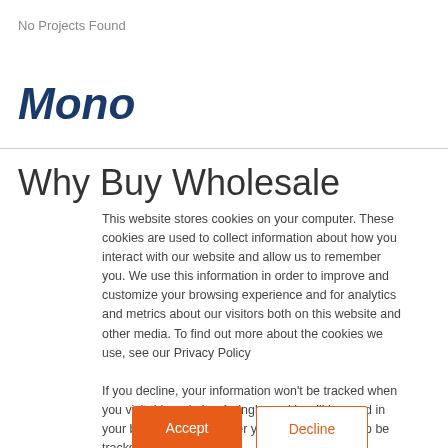No Projects Found
Mono
Why Buy Wholesale
This website stores cookies on your computer. These cookies are used to collect information about how you interact with our website and allow us to remember you. We use this information in order to improve and customize your browsing experience and for analytics and metrics about our visitors both on this website and other media. To find out more about the cookies we use, see our Privacy Policy
If you decline, your information won't be tracked when you visit this website. A single cookie will be used in your browser to remember your preference not to be tracked.
Accept
Decline